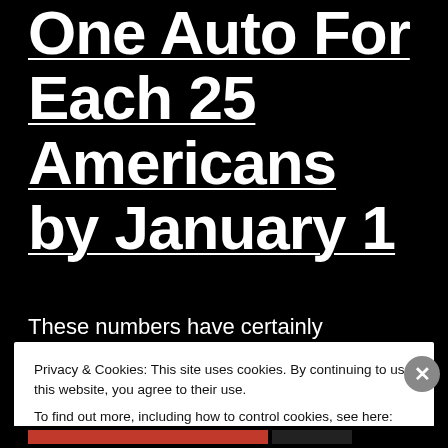One Auto For Each 25 Americans by January 1
These numbers have certainly skyrocketed in the past year. According to the U.S. Department
Privacy & Cookies: This site uses cookies. By continuing to use this website, you agree to their use.
To find out more, including how to control cookies, see here: Cookie Policy
Close and accept